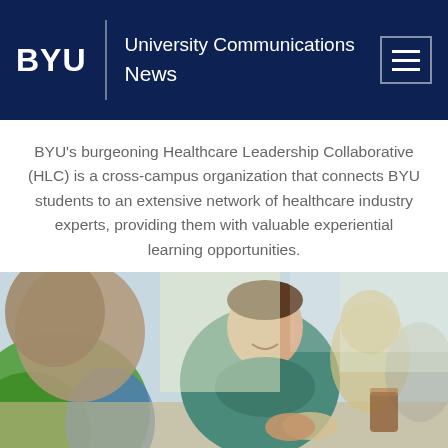BYU | University Communications News
BYU's burgeoning Healthcare Leadership Collaborative (HLC) is a cross-campus organization that connects BYU students to an extensive network of healthcare industry experts, providing them with valuable experiential learning opportunities.
3 Min Read
[Figure (photo): College students sitting together at a table, smiling and talking; one young man in a teal polo shirt is prominently in the center smiling, with a drink and food on the table.]